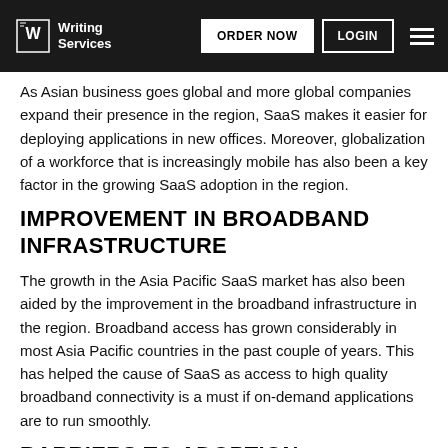Writing Services | ORDER NOW | LOGIN
As Asian business goes global and more global companies expand their presence in the region, SaaS makes it easier for deploying applications in new offices. Moreover, globalization of a workforce that is increasingly mobile has also been a key factor in the growing SaaS adoption in the region.
IMPROVEMENT IN BROADBAND INFRASTRUCTURE
The growth in the Asia Pacific SaaS market has also been aided by the improvement in the broadband infrastructure in the region. Broadband access has grown considerably in most Asia Pacific countries in the past couple of years. This has helped the cause of SaaS as access to high quality broadband connectivity is a must if on-demand applications are to run smoothly.
BARRIERS TO ADOPTION
Even though the market is growing in the region, there are a host of factors inhibiting a smooth take off of SaaS in Asia Pacific.